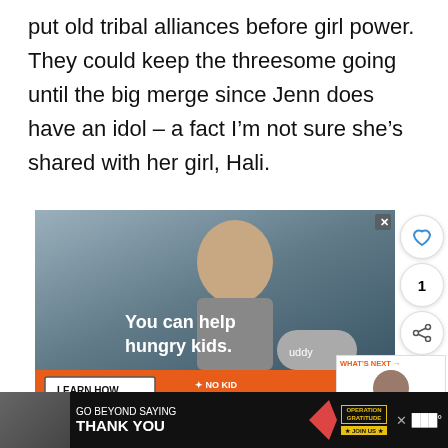put old tribal alliances before girl power. They could keep the threesome going until the big merge since Jenn does have an idol — a fact I'm not sure she's shared with her girl, Hali.
[Figure (photo): Advertisement image showing a young child with text 'You can help hungry kids.' and 'LEARN HOW' button for No Kid Hungry campaign.]
[Figure (screenshot): Bottom banner advertisement: 'GO BEYOND SAYING THANK YOU' for Operation Gratitude with JOIN US button.]